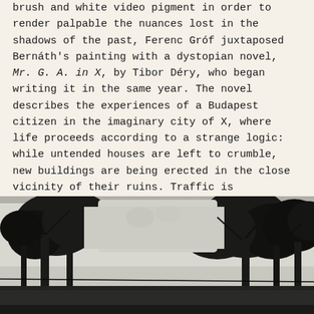brush and white video pigment in order to render palpable the nuances lost in the shadows of the past, Ferenc Gróf juxtaposed Bernáth's painting with a dystopian novel, Mr. G. A. in X, by Tibor Déry, who began writing it in the same year. The novel describes the experiences of a Budapest citizen in the imaginary city of X, where life proceeds according to a strange logic: while untended houses are left to crumble, new buildings are being erected in the close vicinity of their ruins. Traffic is unpredictable, elevators stop at random in hotels, and homicide on the street is accepted as normal by passers-by. Everyone is serene and longing for death. Déry wrote this novel in a notebook while lying in a prison hospital, as he had been sentenced to nine years in prison in 1957 for his contribution to the Revolution, without the slightest hope of ever being able to publish his book in Hungary.
[Figure (photo): Black and white photograph showing trees against a light sky, with dark silhouettes of tree trunks and branches visible. A structure or wall is partially visible at the bottom of the image.]